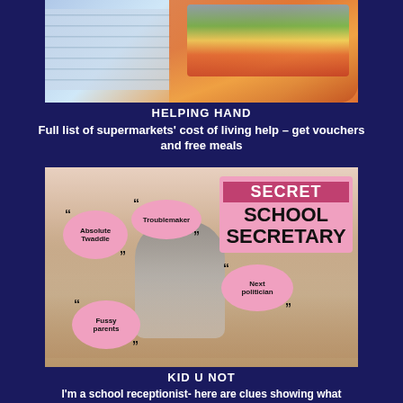[Figure (photo): Supermarket shopping basket with groceries including bottles and bread]
HELPING HAND
Full list of supermarkets' cost of living help – get vouchers and free meals
[Figure (photo): School classroom scene with teacher and children, overlaid with speech bubbles saying 'Absolute Twaddle', 'Troublemaker', 'Next politician', 'Fussy parents', and a 'SECRET SCHOOL SECRETARY' sign]
KID U NOT
I'm a school receptionist- here are clues showing what